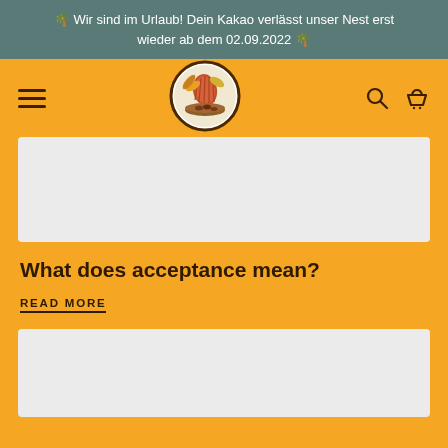🌴 Wir sind im Urlaub! Dein Kakao verlässt unser Nest erst wieder ab dem 02.09.2022 🌴
[Figure (logo): Circular logo with cocoa pod and leaves illustration, brown border]
[Figure (photo): Gray placeholder image rectangle]
What does acceptance mean?
READ MORE
[Figure (photo): Gray placeholder image rectangle at bottom]